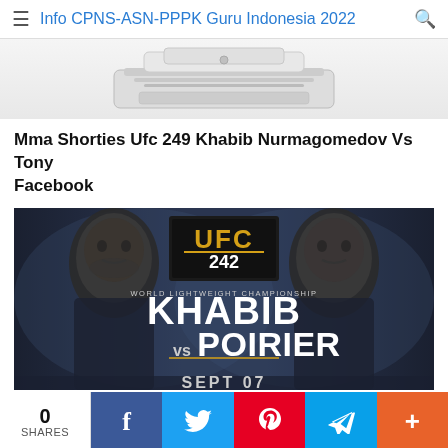Info CPNS-ASN-PPPK Guru Indonesia 2022
[Figure (photo): White cable/DSL modem device on white background - advertisement banner]
Mma Shorties Ufc 249 Khabib Nurmagomedov Vs Tony Facebook
[Figure (photo): UFC 242 promotional banner showing Khabib vs Poirier World Lightweight Championship fight poster]
0 SHARES